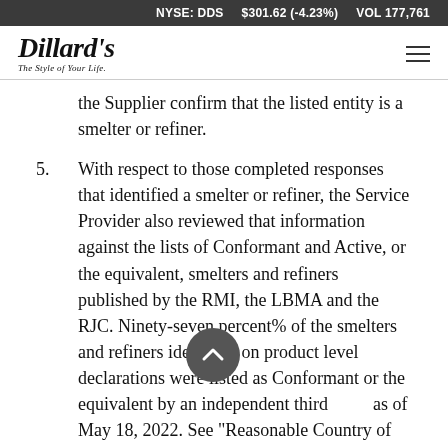NYSE: DDS   $301.62 (-4.23%)   VOL 177,761
[Figure (logo): Dillard's logo with tagline 'The Style of Your Life.']
the Supplier confirm that the listed entity is a smelter or refiner.
5. With respect to those completed responses that identified a smelter or refiner, the Service Provider also reviewed that information against the lists of Conformant and Active, or the equivalent, smelters and refiners published by the RMI, the LBMA and the RJC. Ninety-seven percent% of the smelters and refiners identified on product level declarations were listed as Conformant or the equivalent by an independent third as of May 18, 2022. See "Reasonable Country of Origin Inquiry Information" for further information